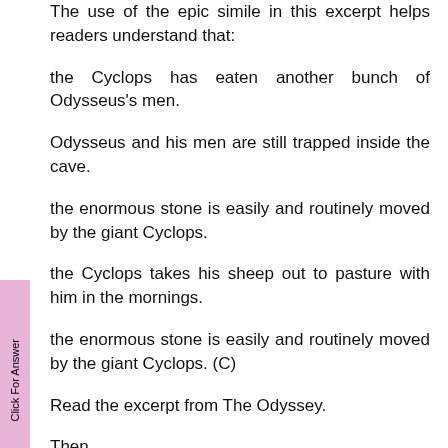The use of the epic simile in this excerpt helps readers understand that:
the Cyclops has eaten another bunch of Odysseus's men.
Odysseus and his men are still trapped inside the cave.
the enormous stone is easily and routinely moved by the giant Cyclops.
the Cyclops takes his sheep out to pasture with him in the mornings.
the enormous stone is easily and routinely moved by the giant Cyclops. (C)
Read the excerpt from The Odyssey.
Then,